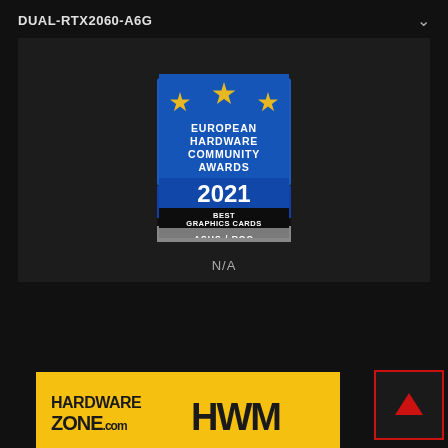DUAL-RTX2060-A6G
[Figure (logo): European Hardware Community Awards 2021 – Best Graphics Cards – ASUS / ROG award badge with blue background, yellow stars, and grey bottom band]
N/A
[Figure (logo): HardwareZone.com HWM banner logo on yellow background]
[Figure (illustration): Scroll-to-top button with red border and red upward chevron arrow on dark background]